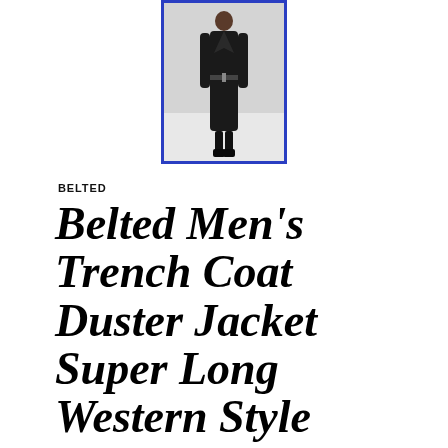[Figure (photo): A man wearing a long dark belted trench coat duster jacket, standing on a runway or white background, full body shot. Image has a blue border.]
BELTED
Belted Men's Trench Coat Duster Jacket Super Long Western Style Runway Overcoat
JULY 12, 2022 | ADMIN | BELTED, COAT, DUSTER, JACKET, LONG, MEN'S, OVERCOAT, RUNWAY, STYLE,